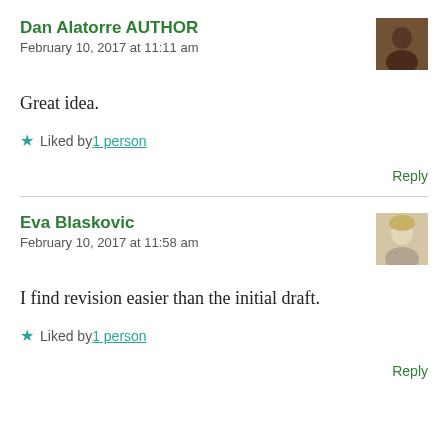Dan Alatorre AUTHOR
February 10, 2017 at 11:11 am
Great idea.
Liked by 1 person
Reply
Eva Blaskovic
February 10, 2017 at 11:58 am
I find revision easier than the initial draft.
Liked by 1 person
Reply